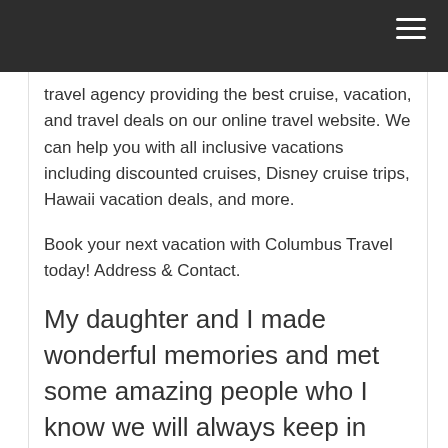travel agency providing the best cruise, vacation, and travel deals on our online travel website. We can help you with all inclusive vacations including discounted cruises, Disney cruise trips, Hawaii vacation deals, and more.
Book your next vacation with Columbus Travel today! Address & Contact.
My daughter and I made wonderful memories and met some amazing people who I know we will always keep in touch with.
Km 72, Carretera Cancun-Chetumal, Puerto Aventuras, Mexico Call Our Front Desk: + Gate 1 is